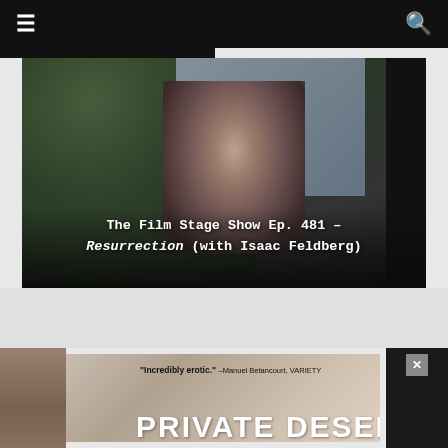≡  [navigation bar]  🔍
[Figure (photo): A woman with short dark hair wearing a dark jacket, photographed outdoors with trees in background. Overlaid text reads: The Film Stage Show Ep. 481 – Resurrection (with Isaac Feldberg)]
The Film Stage Show Ep. 481 – Resurrection (with Isaac Feldberg)
[Figure (photo): Advertisement banner: '"Incredibly erotic." –Manuel Betancourt, VARIETY' with large text PRIVATE DESERT and a woman's photo on the right side]